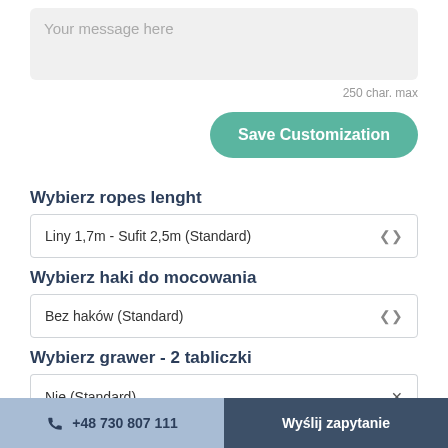[Figure (screenshot): Text input area with placeholder 'Your message here' on light grey background]
250 char. max
[Figure (screenshot): Green rounded button labeled 'Save Customization']
Wybierz ropes lenght
[Figure (screenshot): Dropdown selector showing 'Liny 1,7m - Sufit 2,5m (Standard)' with chevron]
Wybierz haki do mocowania
[Figure (screenshot): Dropdown selector showing 'Bez haków (Standard)' with chevron]
Wybierz grawer - 2 tabliczki
[Figure (screenshot): Partially visible dropdown selector showing 'Nie (Standard)' with x button]
+48 730 807 111   Wyślij zapytanie